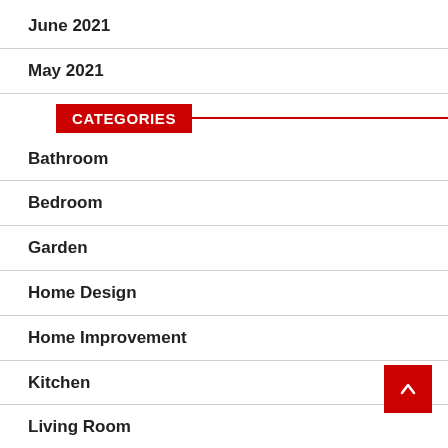June 2021
May 2021
CATEGORIES
Bathroom
Bedroom
Garden
Home Design
Home Improvement
Kitchen
Living Room
Real Estate